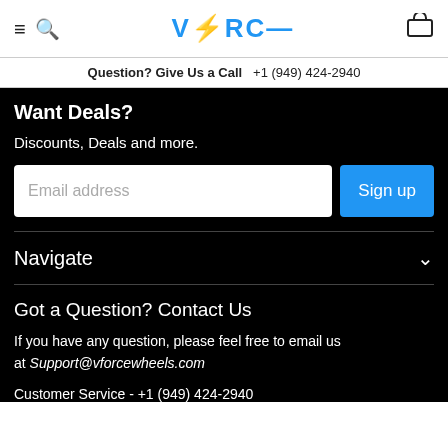VFORCE navigation header with hamburger menu, search icon, VFORCE logo, and cart icon
Question? Give Us a Call   +1 (949) 424-2940
Want Deals?
Discounts, Deals and more.
Email address [input field]   Sign up [button]
Navigate
Got a Question? Contact Us
If you have any question, please feel free to email us at Support@vforcewheels.com
Customer Service - +1 (949) 424-2940